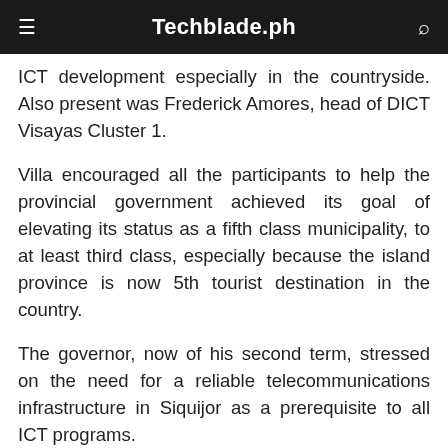Techblade.ph
ICT development especially in the countryside. Also present was Frederick Amores, head of DICT Visayas Cluster 1.
Villa encouraged all the participants to help the provincial government achieved its goal of elevating its status as a fifth class municipality, to at least third class, especially because the island province is now 5th tourist destination in the country.
The governor, now of his second term, stressed on the need for a reliable telecommunications infrastructure in Siquijor as a prerequisite to all ICT programs.
Both Villa and Siquijor Vice Governor Mei Ling Quezon challenged representatives from the